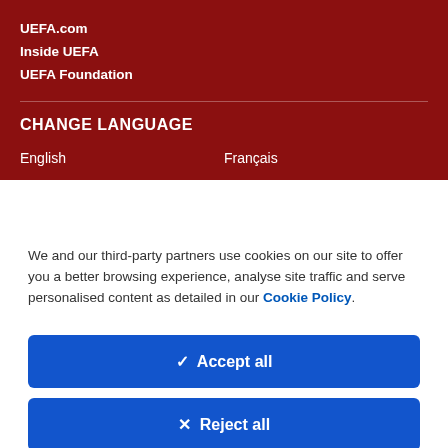UEFA.com
Inside UEFA
UEFA Foundation
CHANGE LANGUAGE
English
Français
We and our third-party partners use cookies on our site to offer you a better browsing experience, analyse site traffic and serve personalised content as detailed in our Cookie Policy.
✓  Accept all
✕  Reject all
Cookie settings >